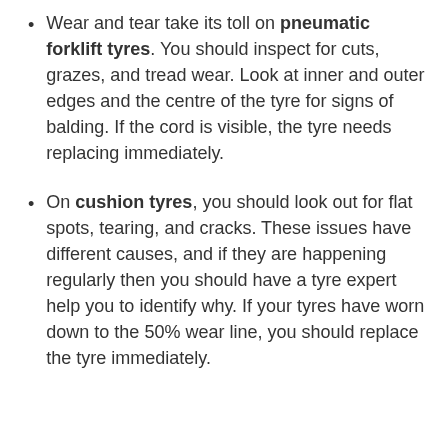Wear and tear take its toll on pneumatic forklift tyres. You should inspect for cuts, grazes, and tread wear. Look at inner and outer edges and the centre of the tyre for signs of balding. If the cord is visible, the tyre needs replacing immediately.
On cushion tyres, you should look out for flat spots, tearing, and cracks. These issues have different causes, and if they are happening regularly then you should have a tyre expert help you to identify why. If your tyres have worn down to the 50% wear line, you should replace the tyre immediately.